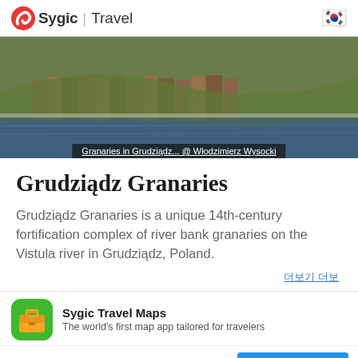Sygic | Travel
[Figure (photo): Aerial or elevated photograph of Grudziądz Granaries along the Vistula river bank, showing medieval brick granary buildings, green hillside, and water]
Granaries in Grudziądz... @ Włodzimierz Wysocki
Grudziądz Granaries
Grudziądz Granaries is a unique 14th-century fortification complex of river bank granaries on the Vistula river in Grudziądz, Poland.
Sygic Travel Maps
The world's first map app tailored for travelers
USE THE APP